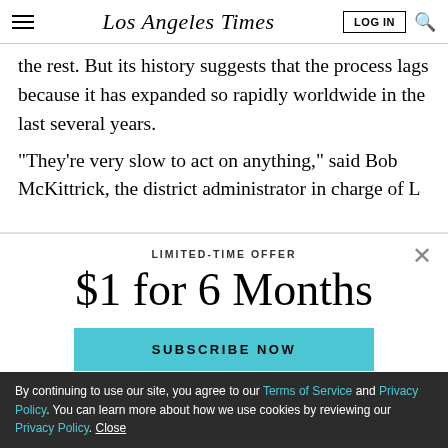Los Angeles Times
the rest. But its history suggests that the process lags because it has expanded so rapidly worldwide in the last several years.
“They’re very slow to act on anything,” said Bob McKittrick, the district administrator in charge of L…
LIMITED-TIME OFFER
$1 for 6 Months
SUBSCRIBE NOW
By continuing to use our site, you agree to our Terms of Service and Privacy Policy. You can learn more about how we use cookies by reviewing our Privacy Policy. Close